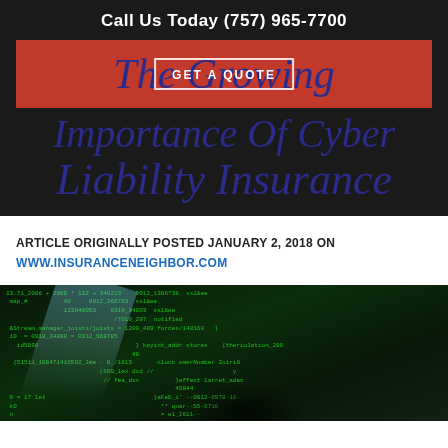Call Us Today (757) 965-7700
The Growing Importance Of Cyber Liability Insurance
ARTICLE ORIGINALLY POSTED JANUARY 2, 2018 ON WWW.INSURANCENEIGHBOR.COM
[Figure (photo): Dark screen showing green code/programming text with a light beam streak and a shadowy hand, representing cyber threats and hacking.]